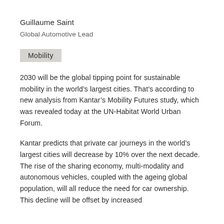Guillaume Saint
Global Automotive Lead
Mobility
2030 will be the global tipping point for sustainable mobility in the world's largest cities. That's according to new analysis from Kantar's Mobility Futures study, which was revealed today at the UN-Habitat World Urban Forum.
Kantar predicts that private car journeys in the world's largest cities will decrease by 10% over the next decade. The rise of the sharing economy, multi-modality and autonomous vehicles, coupled with the ageing global population, will all reduce the need for car ownership. This decline will be offset by increased